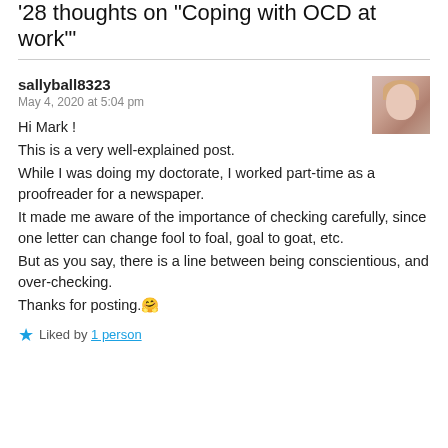'28 thoughts on "Coping with OCD at work"'
sallyball8323
May 4, 2020 at 5:04 pm
Hi Mark !
This is a very well-explained post.
While I was doing my doctorate, I worked part-time as a proofreader for a newspaper.
It made me aware of the importance of checking carefully, since one letter can change fool to foal, goal to goat, etc.
But as you say, there is a line between being conscientious, and over-checking.
Thanks for posting. 🤗
★ Liked by 1 person